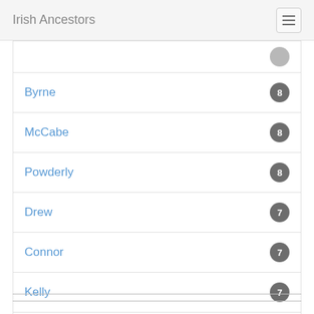Irish Ancestors
Byrne 8
McCabe 8
Powderly 8
Drew 7
Connor 7
Kelly 7
Gregory 6
Carroll 6